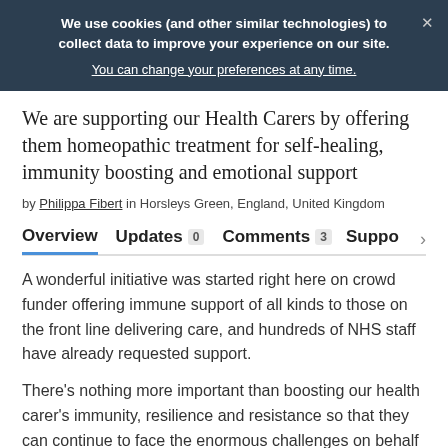We use cookies (and other similar technologies) to collect data to improve your experience on our site. You can change your preferences at any time.
We are supporting our Health Carers by offering them homeopathic treatment for self-healing, immunity boosting and emotional support
by Philippa Fibert in Horsleys Green, England, United Kingdom
Overview   Updates 0   Comments 3   Suppo >
A wonderful initiative was started right here on crowd funder offering immune support of all kinds to those on the front line delivering care, and hundreds of NHS staff have already requested support.
There's nothing more important than boosting our health carer's immunity, resilience and resistance so that they can continue to face the enormous challenges on behalf of